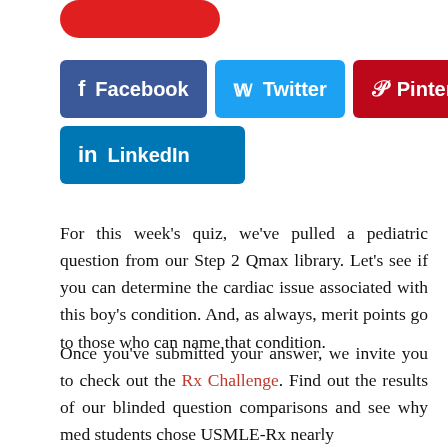[Figure (other): Partial red rounded button at top of page]
[Figure (other): Social media sharing buttons: Facebook (blue), Twitter (cyan), Pinterest (red), LinkedIn (blue)]
For this week's quiz, we've pulled a pediatric question from our Step 2 Qmax library. Let's see if you can determine the cardiac issue associated with this boy's condition. And, as always, merit points go to those who can name that condition.
Once you've submitted your answer, we invite you to check out the Rx Challenge. Find out the results of our blinded question comparisons and see why med students chose USMLE-Rx nearly 7:1 to the competition.